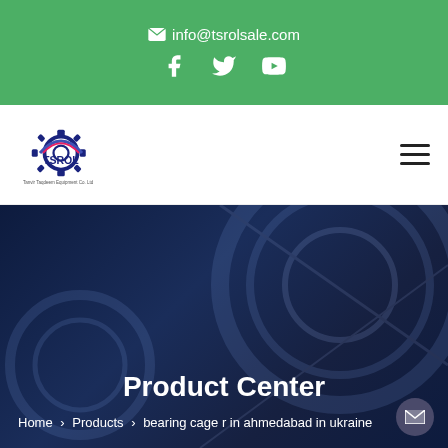✉ info@tsrolsale.com
[Figure (logo): TSROL company logo with gear icon and text 'Tanvir Taqdeem Equipment Co. Ltd']
Product Center
Home > Products > bearing cage r in ahmedabad in ukraine